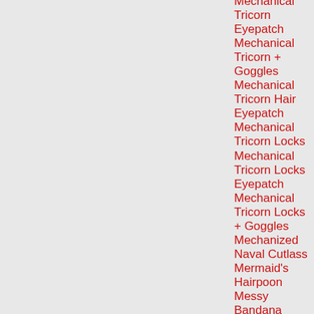Mechanical Tricorn Eyepatch
Mechanical Tricorn + Goggles
Mechanical Tricorn Hair Eyepatch
Mechanical Tricorn Locks
Mechanical Tricorn Locks Eyepatch
Mechanical Tricorn Locks + Goggles
Mechanized Naval Cutlass
Mermaid's Hairpoon
Messy Bandana
Split Helm
Midnight Tophat
Mini Klashex Pet
Mini